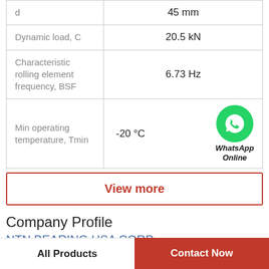| Parameter | Value |
| --- | --- |
| d | 45 mm |
| Dynamic load, C | 20.5 kN |
| Characteristic rolling element frequency, BSF | 6.73 Hz |
| Min operating temperature, Tmin | -20 °C |
[Figure (logo): WhatsApp green circle icon with phone handset, labeled 'WhatsApp Online' in bold italic]
View more
Company Profile
NTN BEARING USA CORP.
All Products | Contact Now